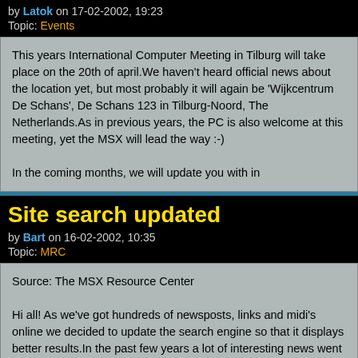by Latok on 17-02-2002, 19:23
Topic: Events
This years International Computer Meeting in Tilburg will take place on the 20th of april.We haven't heard official news about the location yet, but most probably it will again be 'Wijkcentrum De Schans', De Schans 123 in Tilburg-Noord, The Netherlands.As in previous years, the PC is also welcome at this meeting, yet the MSX will lead the way :-)

In the coming months, we will update you with in
Site search updated
by Bart on 16-02-2002, 10:35
Topic: MRC
Source: The MSX Resource Center

Hi all! As we've got hundreds of newsposts, links and midi's online we decided to update the search engine so that it displays better results.In the past few years a lot of interesting news went from the top to the bottom of the frontpage in just a couple of hours. Too bad if you missed it.